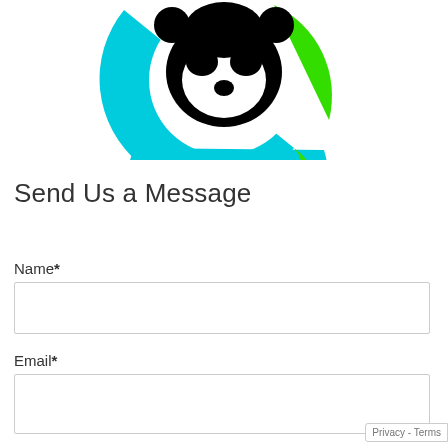[Figure (logo): Circular logo with cyan/blue and green arc around a black raccoon or panda face silhouette on white background]
Send Us a Message
Name*
Email*
Phone
Privacy - Terms